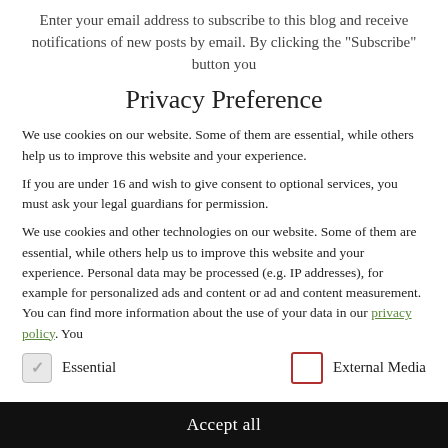Enter your email address to subscribe to this blog and receive notifications of new posts by email. By clicking the "Subscribe" button you
Privacy Preference
We use cookies on our website. Some of them are essential, while others help us to improve this website and your experience.
If you are under 16 and wish to give consent to optional services, you must ask your legal guardians for permission.
We use cookies and other technologies on our website. Some of them are essential, while others help us to improve this website and your experience. Personal data may be processed (e.g. IP addresses), for example for personalized ads and content or ad and content measurement. You can find more information about the use of your data in our privacy policy. You
Essential
External Media